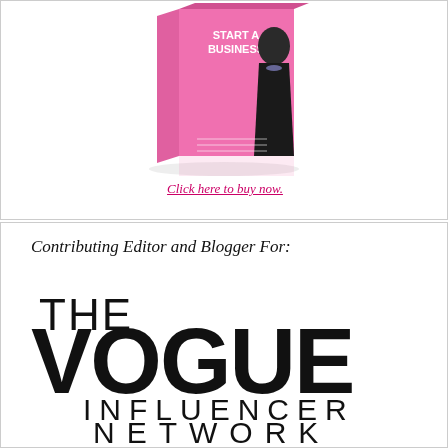[Figure (illustration): Book cover showing a woman in black dress with pink book titled 'Start A Business']
Click here to buy now.
Contributing Editor and Blogger For:
[Figure (logo): The Vogue Influencer Network logo in large bold black text]